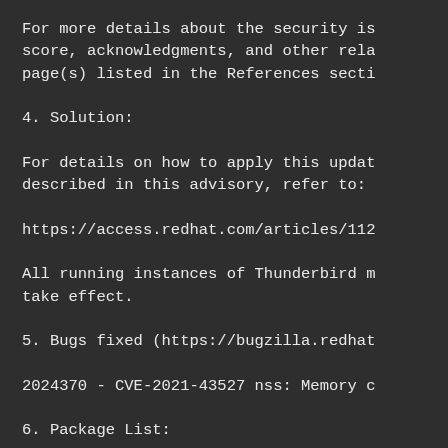For more details about the security is score, acknowledgments, and other rela page(s) listed in the References secti
4. Solution:
For details on how to apply this updat described in this advisory, refer to:
https://access.redhat.com/articles/112
All running instances of Thunderbird m take effect.
5. Bugs fixed (https://bugzilla.redhat
2024370 - CVE-2021-43527 nss: Memory c
6. Package List:
Red Hat Enterprise Linux AppStream EUS
Source:
thunderbird-91.3.0-3.el8_2.src.rpm
aarch64: